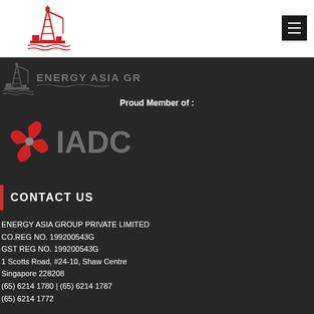[Figure (logo): Energy Asia Group logo with oil rig illustration and red text in white header bar]
[Figure (logo): Energy Asia Group logo in dark/grey on dark background section]
Proud Member of :
[Figure (logo): IADC logo - red pinwheel/fan icon with grey IADC text on dark background]
CONTACT US
ENERGY ASIA GROUP PRIVATE LIMITED
CO.REG NO. 199200543G
GST REG NO. 199200543G
1 Scotts Road, #24-10, Shaw Centre
Singapore 228208
(65) 6214 1780 | (65) 6214 1787
(65) 6214 1772